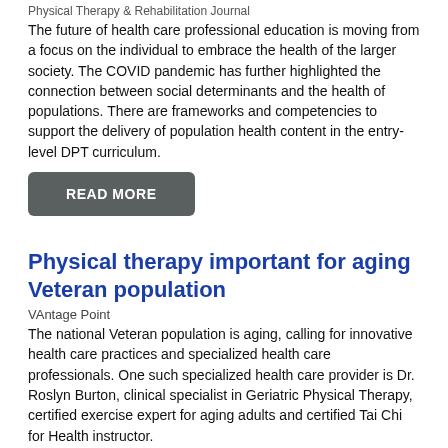Physical Therapy & Rehabilitation Journal
The future of health care professional education is moving from a focus on the individual to embrace the health of the larger society. The COVID pandemic has further highlighted the connection between social determinants and the health of populations. There are frameworks and competencies to support the delivery of population health content in the entry-level DPT curriculum.
READ MORE
Physical therapy important for aging Veteran population
VAntage Point
The national Veteran population is aging, calling for innovative health care practices and specialized health care professionals. One such specialized health care provider is Dr. Roslyn Burton, clinical specialist in Geriatric Physical Therapy, certified exercise expert for aging adults and certified Tai Chi for Health instructor.
READ MORE